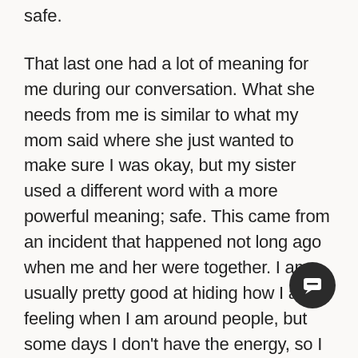safe.

That last one had a lot of meaning for me during our conversation. What she needs from me is similar to what my mom said where she just wanted to make sure I was okay, but my sister used a different word with a more powerful meaning; safe. This came from an incident that happened not long ago when me and her were together. I am usually pretty good at hiding how I am feeling when I am around people, but some days I don't have the energy, so I just wear my emotions on my sleeve. She was